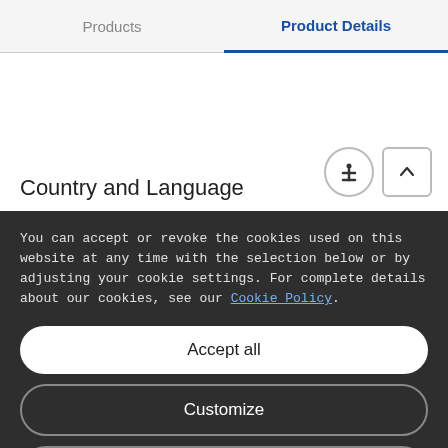Products   Product Details
Country and Language
You can accept or revoke the cookies used on this website at any time with the selection below or by adjusting your cookie settings. For complete details about our cookies, see our Cookie Policy.
Accept all
Customize
Only necessary